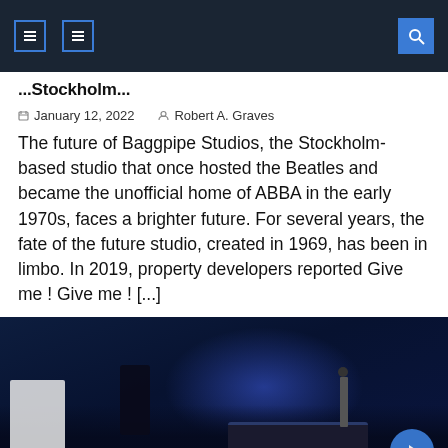Navigation bar with icons and search
[partial title cut off]
January 12, 2022   Robert A. Graves
The future of Baggpipe Studios, the Stockholm-based studio that once hosted the Beatles and became the unofficial home of ABBA in the early 1970s, faces a brighter future. For several years, the fate of the future studio, created in 1969, has been in limbo. In 2019, property developers reported Give me ! Give me ! [...]
[Figure (photo): Dark blue-lit recording studio interior with audio equipment, monitors, and mixing desk visible in dim blue lighting]